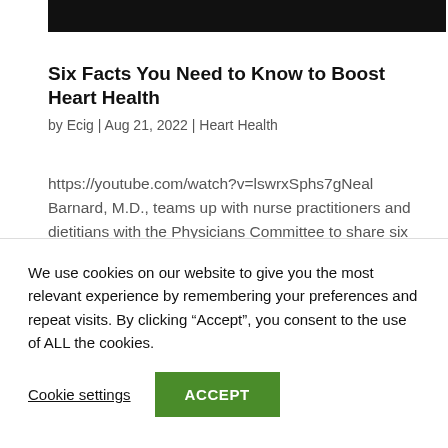[Figure (other): Black banner/header image at top of page]
Six Facts You Need to Know to Boost Heart Health
by Ecig | Aug 21, 2022 | Heart Health
https://youtube.com/watch?v=lswrxSphs7gNeal Barnard, M.D., teams up with nurse practitioners and dietitians with the Physicians Committee to share six facts you need to know to keep your heart healthy! Learn about the warning signs for heart disease, the foods that...
We use cookies on our website to give you the most relevant experience by remembering your preferences and repeat visits. By clicking “Accept”, you consent to the use of ALL the cookies.
Cookie settings  ACCEPT